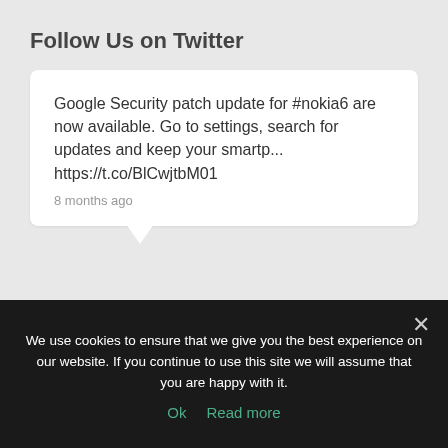Follow Us on Twitter
Google Security patch update for #nokia6 are now available. Go to settings, search for updates and keep your smartp... https://t.co/BlCwjtbM01
8 months ago
[Figure (logo): TeamDroid Community circular green avatar with android bug icon]
TeamDroid Community
@TeamDroidComm
We use cookies to ensure that we give you the best experience on our website. If you continue to use this site we will assume that you are happy with it.
Ok  Read more